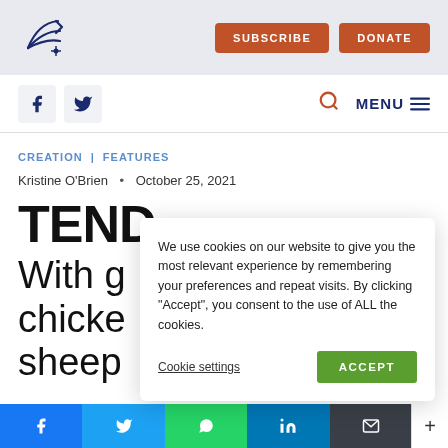SUBSCRIBE DONATE
MENU
CREATION | FEATURES
Kristine O'Brien • October 25, 2021
TEND
With g chicken sheep
We use cookies on our website to give you the most relevant experience by remembering your preferences and repeat visits. By clicking “Accept”, you consent to the use of ALL the cookies. Cookie settings ACCEPT
Facebook Twitter WhatsApp LinkedIn Email +